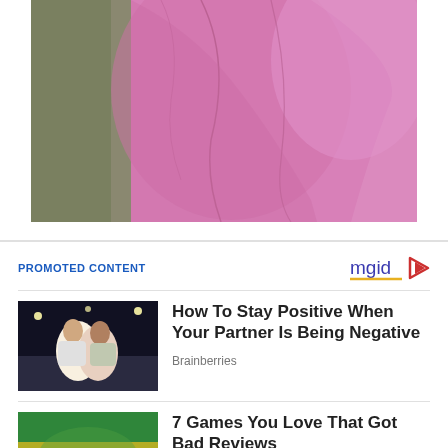[Figure (photo): Close-up photo of a person wearing a pink blazer/jacket, with arms crossed, showing fabric folds and texture. Background shows olive/brown tones on the left.]
PROMOTED CONTENT
[Figure (logo): mgid logo with blue/purple text and orange/yellow underline, followed by a triangular play button icon]
[Figure (photo): Thumbnail image of people at what appears to be a nighttime carnival or celebration event, with stadium lights visible]
How To Stay Positive When Your Partner Is Being Negative
Brainberries
[Figure (photo): Thumbnail image showing colorful flags or banners with green, yellow, and blue colors]
7 Games You Love That Got Bad Reviews